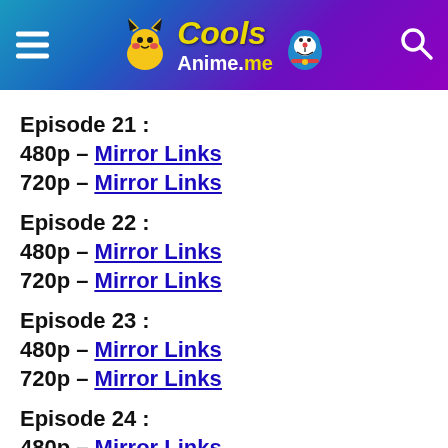CoolsAnime.me
Episode 21 :
480p – Mirror  Links
720p – Mirror  Links
Episode 22 :
480p – Mirror  Links
720p – Mirror  Links
Episode 23 :
480p – Mirror  Links
720p – Mirror  Links
Episode 24 :
480p – Mirror  Links
720p – Mirror  Links
Episode 25 :
480p – Mirror  Links